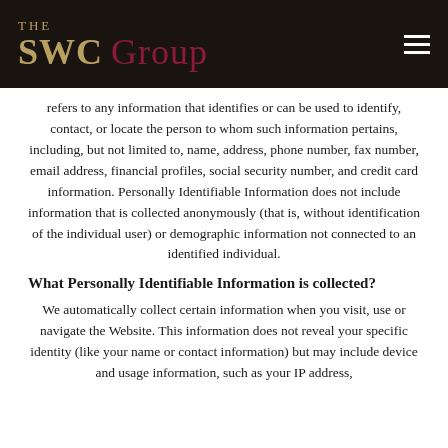THE SWC GROUP
refers to any information that identifies or can be used to identify, contact, or locate the person to whom such information pertains, including, but not limited to, name, address, phone number, fax number, email address, financial profiles, social security number, and credit card information. Personally Identifiable Information does not include information that is collected anonymously (that is, without identification of the individual user) or demographic information not connected to an identified individual.
What Personally Identifiable Information is collected?
We automatically collect certain information when you visit, use or navigate the Website. This information does not reveal your specific identity (like your name or contact information) but may include device and usage information, such as your IP address,